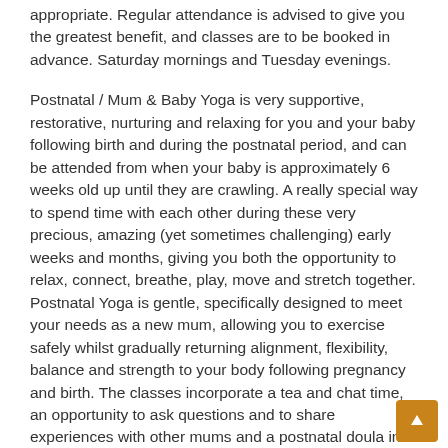appropriate.  Regular attendance is advised to give you the greatest benefit, and classes are to be booked in advance.  Saturday mornings and Tuesday evenings.
Postnatal / Mum & Baby Yoga is very supportive, restorative, nurturing and relaxing for you and your baby following birth and during the postnatal period, and can be attended from when your baby is approximately 6 weeks old up until they are crawling.  A really special way to spend time with each other during these very precious, amazing (yet sometimes challenging) early weeks and months, giving you both the opportunity to relax, connect, breathe, play, move and stretch together.  Postnatal Yoga is gentle, specifically designed to meet your needs as a new mum, allowing you to exercise safely whilst gradually returning alignment, flexibility, balance and strength to your body following pregnancy and birth.  The classes incorporate a tea and chat time, an opportunity to ask questions and to share experiences with other mums and a postnatal doula in a supportive environment.  Baby Massage is also included.  Tuesday afternoons and Wednesday mornings.
Mums-Only Yoga classes are available bi-weekly on Sunday evenings, and can be attended by mums of babies or young...